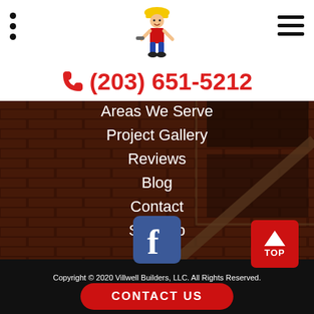(203) 651-5212
[Figure (illustration): Construction worker mascot logo with hard hat and tools]
About Us
Areas We Serve
Project Gallery
Reviews
Blog
Contact
Sitemap
[Figure (logo): Facebook icon button (blue square with white f)]
[Figure (other): Red TOP button with upward arrow]
Copyright © 2020 Villwell Builders, LLC. All Rights Reserved.
CONTACT US